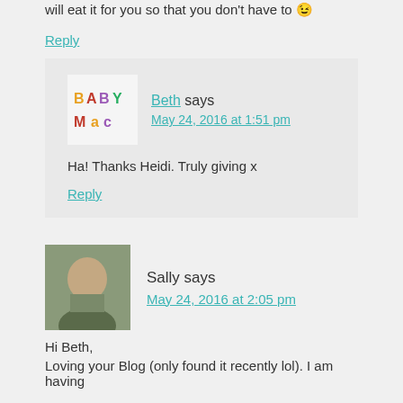will eat it for you so that you don't have to 😉
Reply
Beth says
May 24, 2016 at 1:51 pm
Ha! Thanks Heidi. Truly giving x
Reply
Sally says
May 24, 2016 at 2:05 pm
Hi Beth,
Loving your Blog (only found it recently lol). I am having